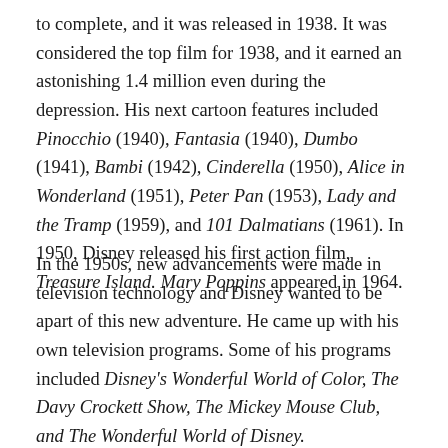to complete, and it was released in 1938. It was considered the top film for 1938, and it earned an astonishing 1.4 million even during the depression. His next cartoon features included Pinocchio (1940), Fantasia (1940), Dumbo (1941), Bambi (1942), Cinderella (1950), Alice in Wonderland (1951), Peter Pan (1953), Lady and the Tramp (1959), and 101 Dalmatians (1961). In 1950, Disney released his first action film, Treasure Island. Mary Poppins appeared in 1964.
In the 1950s, new advancements were made in television technology and Disney wanted to be apart of this new adventure. He came up with his own television programs. Some of his programs included Disney's Wonderful World of Color, The Davy Crockett Show, The Mickey Mouse Club, and The Wonderful World of Disney.